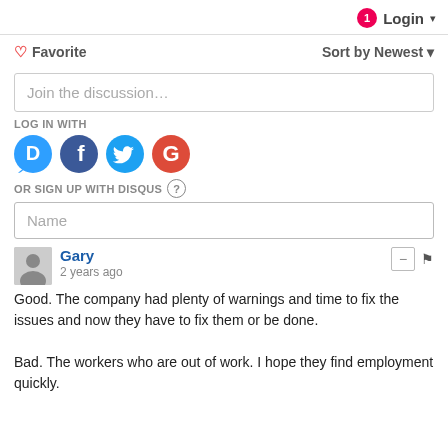1  Login
♡ Favorite   Sort by Newest
Join the discussion…
LOG IN WITH
[Figure (logo): Social login icons: Disqus (D), Facebook (f), Twitter bird, Google (G)]
OR SIGN UP WITH DISQUS ?
Name
Gary
2 years ago

Good. The company had plenty of warnings and time to fix the issues and now they have to fix them or be done.

Bad. The workers who are out of work. I hope they find employment quickly.